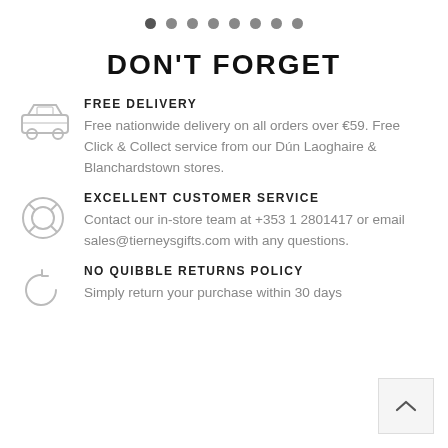[Figure (other): Pagination dots row with 8 dots, first one darker (active)]
DON'T FORGET
[Figure (illustration): Car/delivery vehicle icon (outline)]
FREE DELIVERY
Free nationwide delivery on all orders over €59. Free Click & Collect service from our Dún Laoghaire & Blanchardstown stores.
[Figure (illustration): Lifebuoy / customer service icon (outline)]
EXCELLENT CUSTOMER SERVICE
Contact our in-store team at +353 1 2801417 or email sales@tierneysgifts.com with any questions.
[Figure (illustration): Refresh/returns arrow icon (outline)]
NO QUIBBLE RETURNS POLICY
Simply return your purchase within 30 days